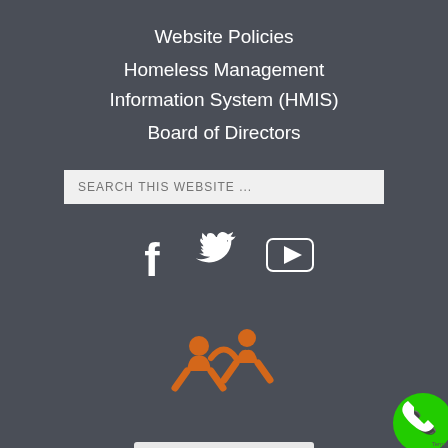Website Policies
Homeless Management Information System (HMIS)
Board of Directors
[Figure (screenshot): Search box with placeholder text SEARCH THIS WEBSITE ...]
[Figure (infographic): Social media icons: Facebook (f), Twitter (bird), YouTube (play button triangle)]
[Figure (logo): Orange stylized logo with two human figure shapes forming a star-like design]
[Figure (screenshot): Language selector dropdown showing English with UK flag icon]
[Figure (infographic): Green circular phone/call button in bottom right corner]